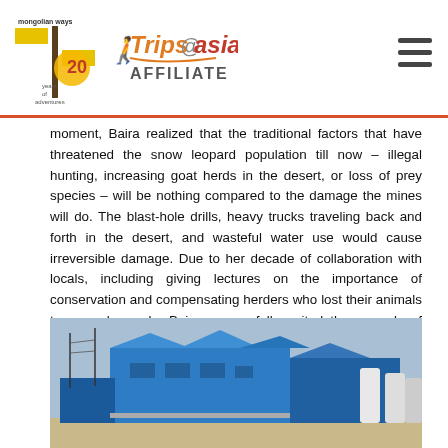mongolian ways 20 years of adventures | Trips@Asia AFFILIATE
moment, Baira realized that the traditional factors that have threatened the snow leopard population till now – illegal hunting, increasing goat herds in the desert, or loss of prey species – will be nothing compared to the damage the mines will do. The blast-hole drills, heavy trucks traveling back and forth in the desert, and wasteful water use would cause irreversible damage. Due to her decade of collaboration with locals, including giving lectures on the importance of conservation and compensating herders who lost their animals to snow leopards, Baira successfully united the nomads of Gurvan Tes to fight against the Mongolian government. Although the group succeeded in persuading the governor of Gurvan Tes to declare the region a protected area, the authority of the local administration was limited compared to that of the government and mining companies.
[Figure (photo): Photograph of a large industrial mining or processing facility with blue metal buildings and industrial silos/tanks, set in a dry desert-like landscape under a grey sky.]